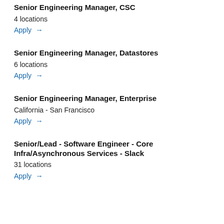Senior Engineering Manager, CSC
4 locations
Apply →
Senior Engineering Manager, Datastores
6 locations
Apply →
Senior Engineering Manager, Enterprise
California - San Francisco
Apply →
Senior/Lead - Software Engineer - Core Infra/Asynchronous Services - Slack
31 locations
Apply →